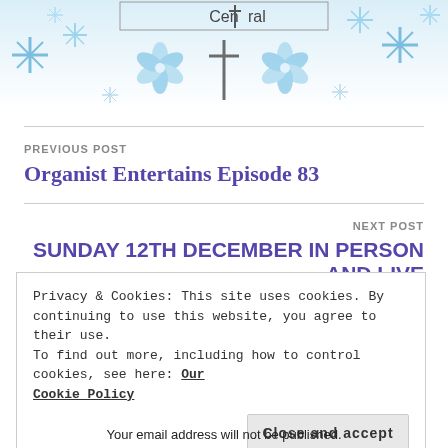[Figure (illustration): Winter/Christmas themed header banner with snowflakes in shades of blue and a cross/church logo with the text 'Central' in the middle]
PREVIOUS POST
Organist Entertains Episode 83
NEXT POST
SUNDAY 12TH DECEMBER IN PERSON AND LIVE
Privacy & Cookies: This site uses cookies. By continuing to use this website, you agree to their use.
To find out more, including how to control cookies, see here: Our Cookie Policy
Close and accept
Your email address will not be published.